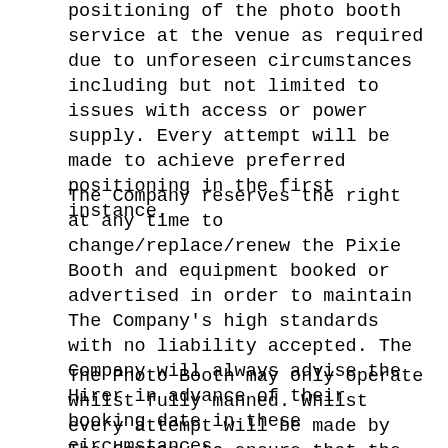positioning of the photo booth service at the venue as required due to unforeseen circumstances including but not limited to issues with access or power supply. Every attempt will be made to achieve preferred positioning in the first instance.
The Company reserves the right at any time to change/replace/renew the Pixie Booth and equipment booked or advertised in order to maintain The Company's high standards with no liability accepted. The Company will always advise the Hirer in advance of their booking date in these circumstances.
The Photo Booth may only operate whilst fully manned. Whilst every attempt will be made by The Company to ensure that the Photo Booth remains fully manned and operable at all times during the agreed hire period in the event that a short break is required the Photo Booth may temporarily close. This time will